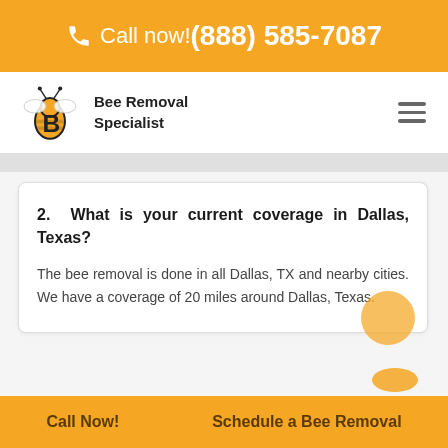Call now! (888) 585-7087
[Figure (logo): Bee Removal Specialist logo with bee icon and text]
2. What is your current coverage in Dallas, Texas?
The bee removal is done in all Dallas, TX and nearby cities. We have a coverage of 20 miles around Dallas, Texas.
Call Now!   Schedule a Bee Removal